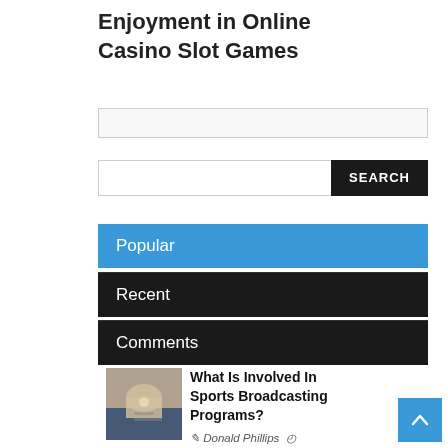Enjoyment in Online Casino Slot Games
Popular
Recent
Comments
What Is Involved In Sports Broadcasting Programs?
Donald Phillips